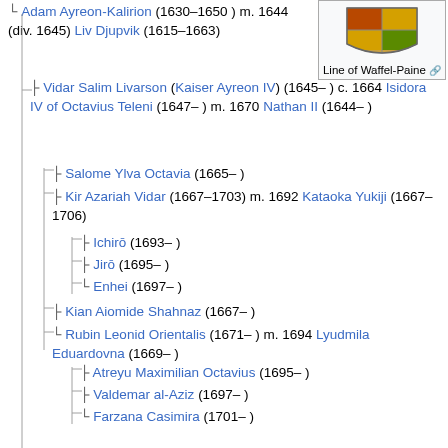[Figure (other): Coat of arms or heraldic image with orange/brown coloring, labeled 'Line of Waffel-Paine']
└ Adam Ayreon-Kalirion (1630–1650 ) m. 1644 (div. 1645) Liv Djupvik (1615–1663)
├ Vidar Salim Livarson (Kaiser Ayreon IV) (1645– ) c. 1664 Isidora IV of Octavius Teleni (1647– ) m. 1670 Nathan II (1644– )
├ Salome Ylva Octavia (1665– )
├ Kir Azariah Vidar (1667–1703) m. 1692 Kataoka Yukiji (1667–1706)
├ Ichirō (1693– )
├ Jirō (1695– )
└ Enhei (1697– )
├ Kian Aiomide Shahnaz (1667– )
└ Rubin Leonid Orientalis (1671– ) m. 1694 Lyudmila Eduardovna (1669– )
├ Atreyu Maximilian Octavius (1695– )
├ Valdemar al-Aziz (1697– )
└ Farzana Casimira (1701– )
├ Aldin Ayreon-Kalirion (1630– ) m. 1656 Li Naomiai (1627– )
├ David Raion (1657– ) m. 1682 Mariette Carrillo (1661– )
└ Utas Enrique Naian (1683– ) m. 1706 Rosamund Primo de Aguilar (1673– )
└ Alexander Amirzadeh Augustin (1701– )
Abigail Ayreon-Kalirion (1662– ) m. 1699 Titu Augui...